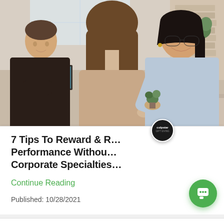[Figure (photo): Three people in a professional office setting — a man on the left, a woman with long brown hair in the center (seen from behind), and a smiling woman with glasses on the right across a desk, possibly in a consulting or banking meeting.]
7 Tips To Reward & Recognize Performance Without Corporate Specialties
Continue Reading
Published: 10/28/2021
Hello! Do you have any questions? I'm happy to help.